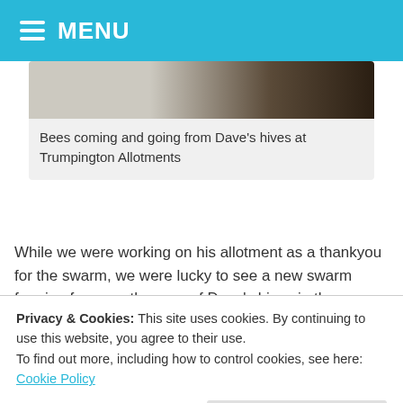MENU
[Figure (photo): Bees coming and going from Dave's hives, close-up of hive entrance with bees visible]
Bees coming and going from Dave’s hives at Trumpington Allotments
While we were working on his allotment as a thankyou for the swarm, we were lucky to see a new swarm forming from another one of Dave’s hives in the Trumpington Allotment apiary.
[Figure (photo): Bee swarm forming outdoors against a pale blue sky with green foliage]
Privacy & Cookies: This site uses cookies. By continuing to use this website, you agree to their use.
To find out more, including how to control cookies, see here: Cookie Policy
[Figure (photo): Green leafy vegetation, likely showing bee swarm location]